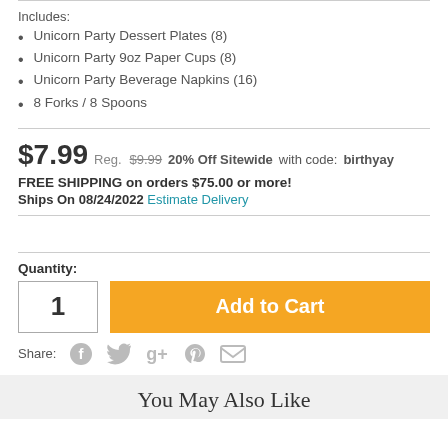Includes:
Unicorn Party Dessert Plates (8)
Unicorn Party 9oz Paper Cups (8)
Unicorn Party Beverage Napkins (16)
8 Forks / 8 Spoons
$7.99  Reg. $9.99  20% Off Sitewide with code: birthyay
FREE SHIPPING on orders $75.00 or more!
Ships On 08/24/2022  Estimate Delivery
Quantity:
1
Add to Cart
Share:
You May Also Like